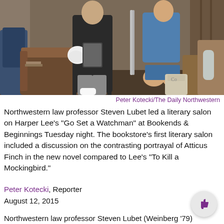[Figure (photo): People seated at a literary salon discussion event, including a man in dark clothing holding papers and a woman in a blue dress, in a bookstore setting.]
Peter Kotecki/The Daily Northwestern
Northwestern law professor Steven Lubet led a literary salon on Harper Lee’s “Go Set a Watchman” at Bookends & Beginnings Tuesday night. The bookstore’s first literary salon included a discussion on the contrasting portrayal of Atticus Finch in the new novel compared to Lee’s “To Kill a Mockingbird.”
Peter Kotecki, Reporter
August 12, 2015
Northwestern law professor Steven Lubet (Weinberg ‘79)